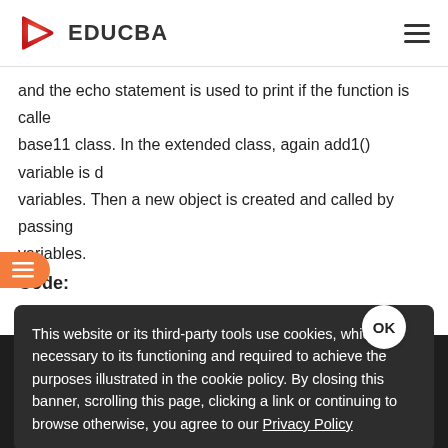EDUCBA
and the echo statement is used to print if the function is called base11 class. In the extended class, again add1() variable is defined with variables. Then a new object is created and called by passing variables.
Code:
This website or its third-party tools use cookies, which are necessary to its functioning and required to achieve the purposes illustrated in the cookie policy. By closing this banner, scrolling this page, clicking a link or continuing to browse otherwise, you agree to our Privacy Policy
{